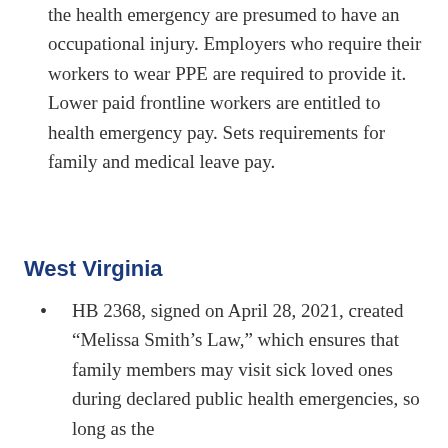the health emergency are presumed to have an occupational injury. Employers who require their workers to wear PPE are required to provide it. Lower paid frontline workers are entitled to health emergency pay. Sets requirements for family and medical leave pay.
West Virginia
HB 2368, signed on April 28, 2021, created “Melissa Smith’s Law,” which ensures that family members may visit sick loved ones during declared public health emergencies, so long as the